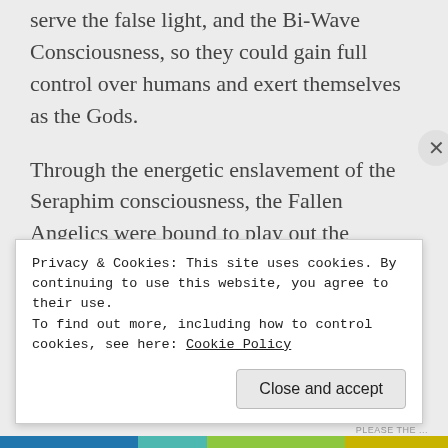serve the false light, and the Bi-Wave Consciousness, so they could gain full control over humans and exert themselves as the Gods.
Through the energetic enslavement of the Seraphim consciousness, the Fallen Angelics were bound to play out the program of the Luciferian Rebellion as the Sons of Belial. And so they played their part as dictated by the planetary grid structures. This was further capitalized on by off
Privacy & Cookies: This site uses cookies. By continuing to use this website, you agree to their use.
To find out more, including how to control cookies, see here: Cookie Policy
Close and accept